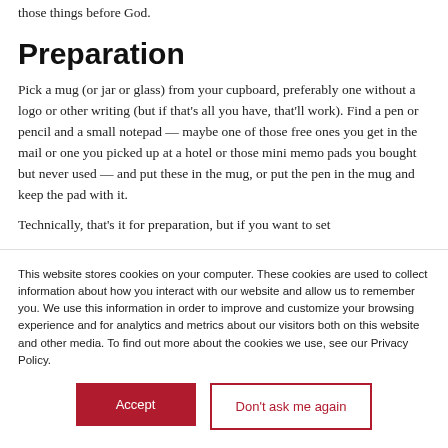those things before God.
Preparation
Pick a mug (or jar or glass) from your cupboard, preferably one without a logo or other writing (but if that's all you have, that'll work). Find a pen or pencil and a small notepad — maybe one of those free ones you get in the mail or one you picked up at a hotel or those mini memo pads you bought but never used — and put these in the mug, or put the pen in the mug and keep the pad with it.
Technically, that's it for preparation, but if you want to set
This website stores cookies on your computer. These cookies are used to collect information about how you interact with our website and allow us to remember you. We use this information in order to improve and customize your browsing experience and for analytics and metrics about our visitors both on this website and other media. To find out more about the cookies we use, see our Privacy Policy.
Accept
Don't ask me again